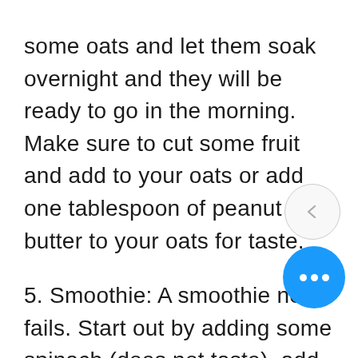some oats and let them soak overnight and they will be ready to go in the morning. Make sure to cut some fruit and add to your oats or add one tablespoon of peanut butter to your oats for taste.
5. Smoothie: A smoothie never fails. Start out by adding some spinach (does not taste), add one piece of fruit, some almond milk or water and you can add protein powder or 1 cup of Greek yogurt that is packed full